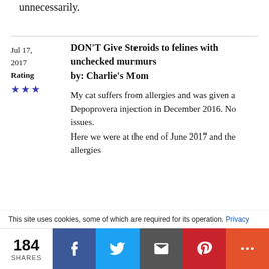unnecessarily.
Jul 17, 2017
Rating
★★★

DON'T Give Steroids to felines with unchecked murmurs
by: Charlie's Mom

My cat suffers from allergies and was given a Depoprovera injection in December 2016. No issues.
Here we were at the end of June 2017 and the allergies
This site uses cookies, some of which are required for its operation. Privacy
184 SHARES  [Facebook] [Twitter] [Mail] [Pinterest] [More]